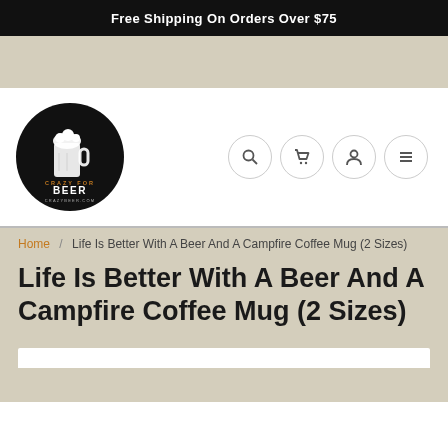Free Shipping On Orders Over $75
[Figure (logo): Crazy For Beer circular logo — black circle with a beer mug illustration, text 'CRAZY FOR BEER' and 'CRAZYFORBEER.COM']
Breadcrumb navigation: Home / Life Is Better With A Beer And A Campfire Coffee Mug (2 Sizes)
Life Is Better With A Beer And A Campfire Coffee Mug (2 Sizes)